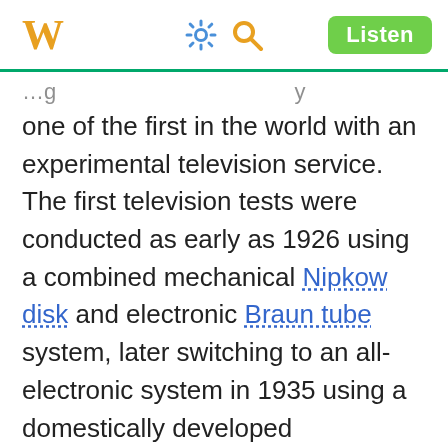W [gear icon] [search icon] Listen
one of the first in the world with an experimental television service. The first television tests were conducted as early as 1926 using a combined mechanical Nipkow disk and electronic Braun tube system, later switching to an all-electronic system in 1935 using a domestically developed iconoscope system.[141] In spite of that, because of the beginning of World War II in the Pacific